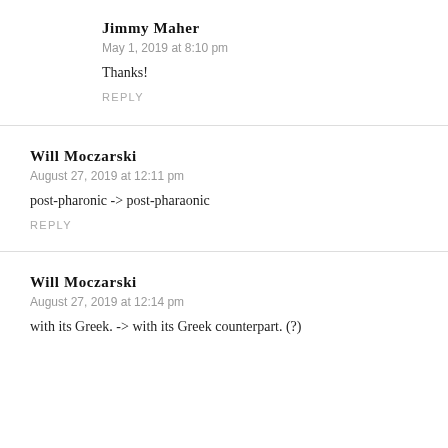Jimmy Maher
May 1, 2019 at 8:10 pm
Thanks!
REPLY
Will Moczarski
August 27, 2019 at 12:11 pm
post-pharonic -> post-pharaonic
REPLY
Will Moczarski
August 27, 2019 at 12:14 pm
with its Greek. -> with its Greek counterpart. (?)